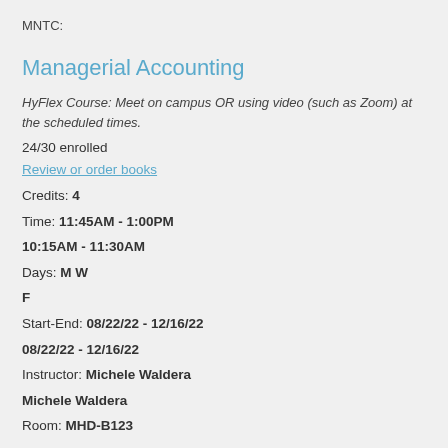MNTC:
Managerial Accounting
HyFlex Course: Meet on campus OR using video (such as Zoom) at the scheduled times.
24/30 enrolled
Review or order books
Credits: 4
Time: 11:45AM - 1:00PM
10:15AM - 11:30AM
Days: M W
F
Start-End: 08/22/22 - 12/16/22
08/22/22 - 12/16/22
Instructor: Michele Waldera
Michele Waldera
Room: MHD-B123